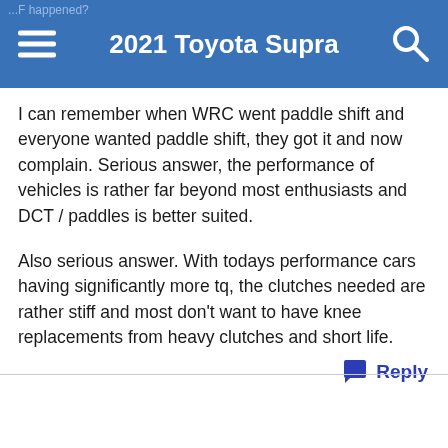2021 Toyota Supra
I can remember when WRC went paddle shift and everyone wanted paddle shift, they got it and now complain. Serious answer, the performance of vehicles is rather far beyond most enthusiasts and DCT / paddles is better suited.
Also serious answer. With todays performance cars having significantly more tq, the clutches needed are rather stiff and most don't want to have knee replacements from heavy clutches and short life.